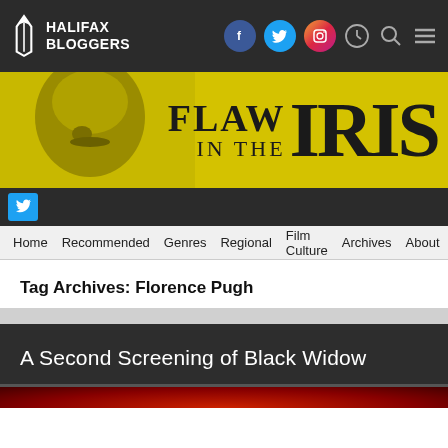HALIFAX BLOGGERS
[Figure (illustration): Halifax Bloggers website banner with movie face and 'FLAW IN THE IRIS' text on yellow background]
Twitter icon row
Home  Recommended  Genres  Regional  Film Culture  Archives  About
Tag Archives: Florence Pugh
A Second Screening of Black Widow
[Figure (photo): Red-toned movie still from Black Widow]